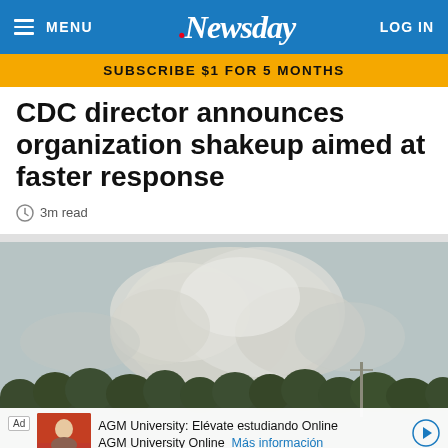MENU | Newsday | LOG IN
SUBSCRIBE $1 FOR 5 MONTHS
CDC director announces organization shakeup aimed at faster response
3m read
[Figure (photo): Outdoor scene showing large smoke or cloud plume rising above a tree line against an overcast grey sky]
Ad | AGM University: Elévate estudiando Online | AGM University Online | Más información